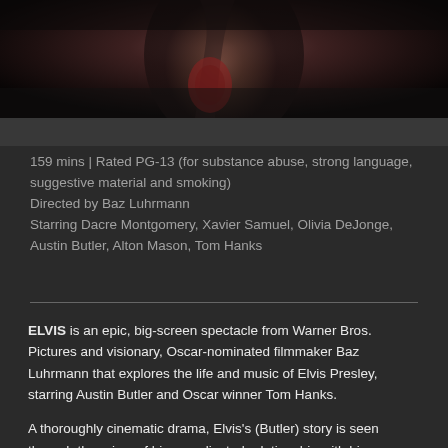[Figure (photo): Dark cinematic still from the Elvis film, showing a hand holding what appears to be a guitar or instrument against a dark background]
159 mins | Rated PG-13 (for substance abuse, strong language, suggestive material and smoking)
Directed by Baz Luhrmann
Starring Dacre Montgomery, Xavier Samuel, Olivia DeJonge, Austin Butler, Alton Mason, Tom Hanks
ELVIS is an epic, big-screen spectacle from Warner Bros. Pictures and visionary, Oscar-nominated filmmaker Baz Luhrmann that explores the life and music of Elvis Presley, starring Austin Butler and Oscar winner Tom Hanks.
A thoroughly cinematic drama, Elvis's (Butler) story is seen through the prism of his complicated relationship with his enigmatic manager, Colonel Tom Parker (Hanks). As told by Parker, the film delves into the complex dynamic between the two spanning over 20 years, from Presley's rise to fame to his